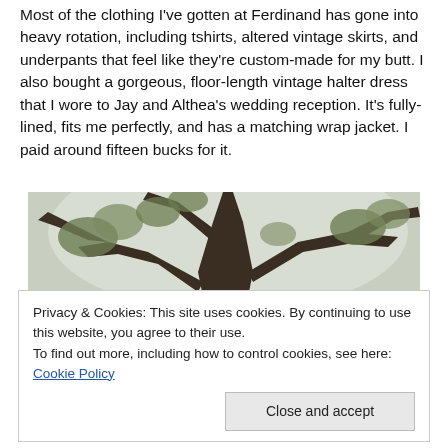Most of the clothing I've gotten at Ferdinand has gone into heavy rotation, including tshirts, altered vintage skirts, and underpants that feel like they're custom-made for my butt. I also bought a gorgeous, floor-length vintage halter dress that I wore to Jay and Althea's wedding reception. It's fully-lined, fits me perfectly, and has a matching wrap jacket. I paid around fifteen bucks for it.
[Figure (photo): An upward-looking photo of a large tree with twisting dark branches against a light sky, with green foliage visible.]
Privacy & Cookies: This site uses cookies. By continuing to use this website, you agree to their use.
To find out more, including how to control cookies, see here: Cookie Policy

Close and accept